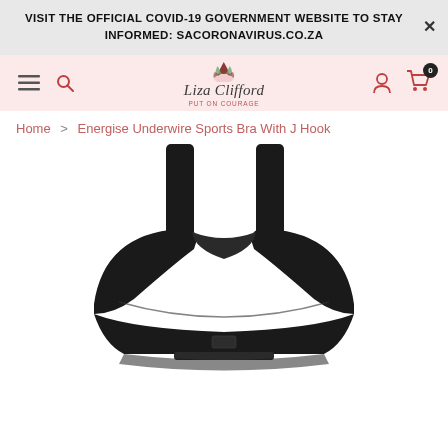VISIT THE OFFICIAL COVID-19 GOVERNMENT WEBSITE TO STAY INFORMED: SACORONAVIRUS.CO.ZA
[Figure (screenshot): Liza Clifford e-commerce navigation bar with hamburger menu, search icon, logo, user icon, and cart icon showing 0 items]
Home > Energise Underwire Sports Bra With J Hook
[Figure (photo): Product photo of a black Energise Underwire Sports Bra with J Hook against a white background, showing the front view with wide straps]